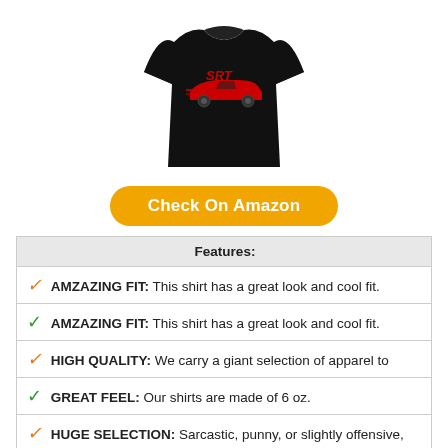[Figure (photo): Black t-shirt with red SRT car graphic on the front chest area]
Check On Amazon
Features:
✓ AMZAZING FIT: This shirt has a great look and cool fit.
✓ AMZAZING FIT: This shirt has a great look and cool fit.
✓ HIGH QUALITY: We carry a giant selection of apparel to
✓ GREAT FEEL: Our shirts are made of 6 oz.
✓ HUGE SELECTION: Sarcastic, punny, or slightly offensive,
✓ UNISEX FIT: Unisex sizing fits both men and women but is
MOTORCRAFTER 0-0 FUEL FILTER